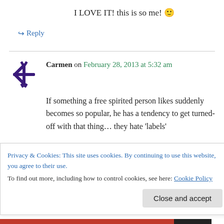I LOVE IT! this is so me! 🙂
↪ Reply
Carmen on February 28, 2013 at 5:32 am
If something a free spirited person likes suddenly becomes so popular, he has a tendency to get turned-off with that thing… they hate 'labels'
Male free spirits
– the guy from Before Sunset
Privacy & Cookies: This site uses cookies. By continuing to use this website, you agree to their use.
To find out more, including how to control cookies, see here: Cookie Policy
Close and accept